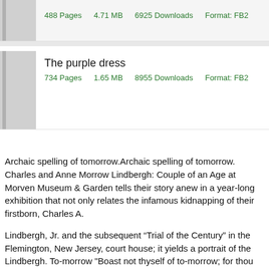488 Pages    4.71 MB    6925 Downloads    Format: FB2
The purple dress
734 Pages    1.65 MB    8955 Downloads    Format: FB2
Archaic spelling of tomorrow.Archaic spelling of tomorrow. Charles and Anne Morrow Lindbergh: Couple of an Age at Morven Museum & Garden tells their story anew in a year-long exhibition that not only relates the infamous kidnapping of their firstborn, Charles A.
Lindbergh, Jr. and the subsequent “Trial of the Century” in the Flemington, New Jersey, court house; it yields a portrait of the Lindbergh. To-morrow "Boast not thyself of to-morrow; for thou knowest not what a day may bring forth."—Proverbs God’s most holy Word was principally written to inform us of the way to heaven, and to guide us in our path through this world, to the realms of eternal life and light.